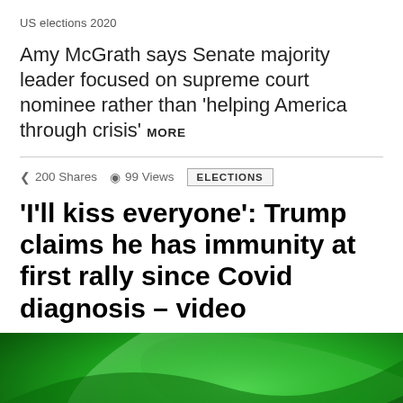US elections 2020
Amy McGrath says Senate majority leader focused on supreme court nominee rather than ‘helping America through crisis’ MORE
200 Shares  99 Views  ELECTIONS
'I'll kiss everyone': Trump claims he has immunity at first rally since Covid diagnosis – video
[Figure (photo): Green abstract background with politic-news.space watermark text]